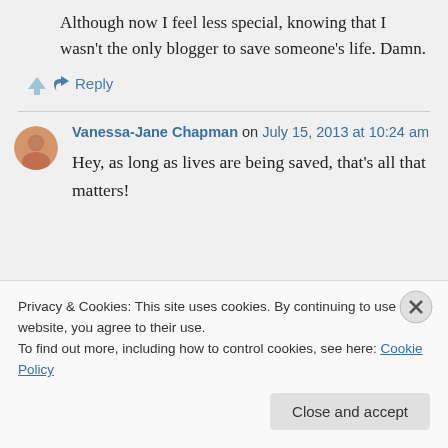Although now I feel less special, knowing that I wasn't the only blogger to save someone's life. Damn.
↳ Reply
Vanessa-Jane Chapman on July 15, 2013 at 10:24 am
Hey, as long as lives are being saved, that's all that matters!
Privacy & Cookies: This site uses cookies. By continuing to use this website, you agree to their use.
To find out more, including how to control cookies, see here: Cookie Policy